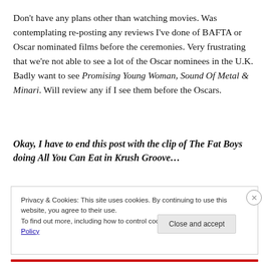Don't have any plans other than watching movies. Was contemplating re-posting any reviews I've done of BAFTA or Oscar nominated films before the ceremonies. Very frustrating that we're not able to see a lot of the Oscar nominees in the U.K. Badly want to see Promising Young Woman, Sound Of Metal & Minari. Will review any if I see them before the Oscars.
Okay, I have to end this post with the clip of The Fat Boys doing All You Can Eat in Krush Groove…
Privacy & Cookies: This site uses cookies. By continuing to use this website, you agree to their use.
To find out more, including how to control cookies, see here: Cookie Policy